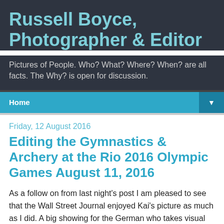Russell Boyce, Photographer & Editor
Pictures of People. Who? What? Where? When? are all facts. The Why? is open for discussion.
Home
Friday, 12 August 2016
Editing the Gymnastics & Archery at the Rio 2016 Olympic Games August 11, 2016
As a follow on from last night's post I am pleased to see that the Wall Street Journal enjoyed Kai's picture as much as I did. A big showing for the German who takes visual risks.